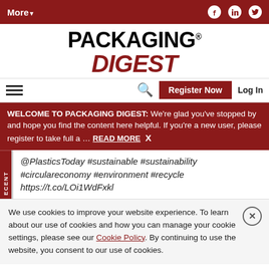More▼  [Facebook] [LinkedIn] [Twitter]
[Figure (logo): Packaging Digest logo with PACKAGING in black bold and DIGEST in dark red italic]
☰  🔍  Register Now  Log In
WELCOME TO PACKAGING DIGEST: We're glad you've stopped by and hope you find the content here helpful. If you're a new user, please register to take full a ... READ MORE  X
@PlasticsToday #sustainable #sustainability #circulareconomy #environment #recycle https://t.co/LOi1WdFxkl
We use cookies to improve your website experience. To learn about our use of cookies and how you can manage your cookie settings, please see our Cookie Policy. By continuing to use the website, you consent to our use of cookies.